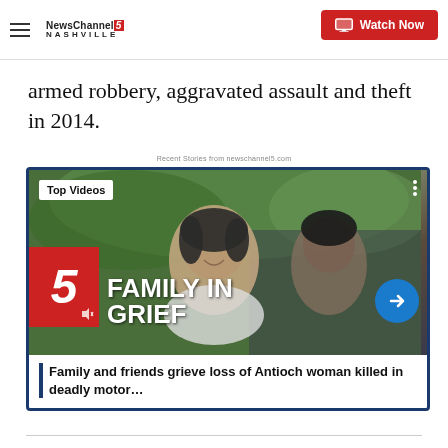NewsChannel 5 Nashville | Watch Now
armed robbery, aggravated assault and theft in 2014.
Recent Stories from newschannel5.com
[Figure (screenshot): Video thumbnail showing 'Top Videos' card with image of a young person smiling. Overlay shows '5' logo in red, large white text reading 'FAMILY IN GRIEF', and caption 'Family and friends grieve loss of Antioch woman killed in deadly motor…']